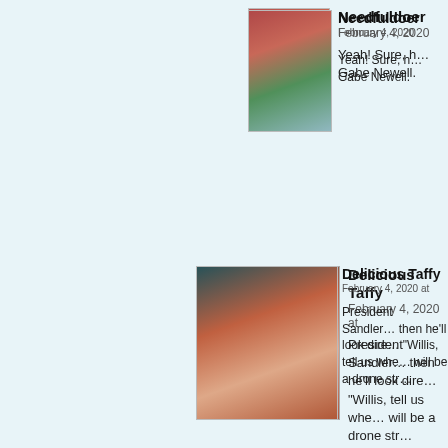[Figure (illustration): Avatar of Needfuldoer, anime-style character with red hair and glasses]
Needfuldoer
February 4, 2020
Yeah! Sure, he... Gabe Newell.
[Figure (illustration): Avatar of Delicious Taffy, anime-style character with orange hair]
Delicious Taffy
February 4, 2020 at
President Sandler... then he'll look dire... "Willis, tell us whe... will be a drone str...
[Figure (illustration): Avatar of JBento, dark-skinned anime-style character with teal beanie]
JBento
February 4, 202...
You say "Pres... downgrade fro...
[Figure (illustration): Avatar of Delicious Taffy (second comment), anime-style character with orange hair]
Delicious...
February 4,...
More like a... don't think,... President,...